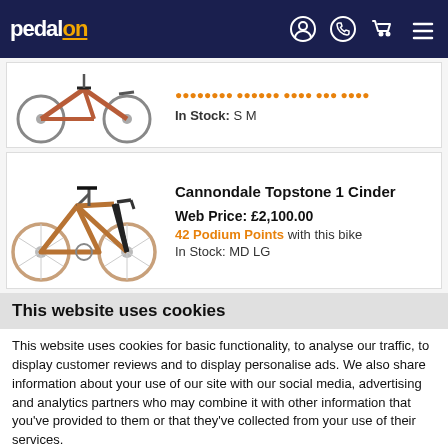pedalon
[Figure (photo): Partial view of a road/gravel bike with reddish-brown/rust frame, showing the wheels and frame, cropped at the top of the page.]
In Stock: S M
[Figure (photo): Cannondale Topstone 1 Cinder gravel bike with copper/tan frame on white background.]
Cannondale Topstone 1 Cinder
Web Price: £2,100.00
42 Podium Points with this bike
In Stock: MD LG
This website uses cookies
This website uses cookies for basic functionality, to analyse our traffic, to display customer reviews and to display personalise ads. We also share information about your use of our site with our social media, advertising and analytics partners who may combine it with other information that you've provided to them or that they've collected from your use of their services.
Allow selection | Allow all cookies
Necessary | Preferences | Statistics | Marketing | Show details